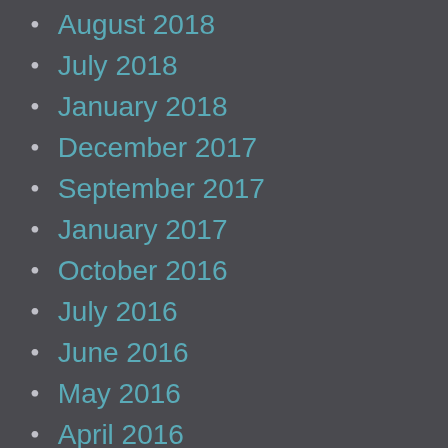August 2018
July 2018
January 2018
December 2017
September 2017
January 2017
October 2016
July 2016
June 2016
May 2016
April 2016
March 2016
February 2016
December 2015
November 2015